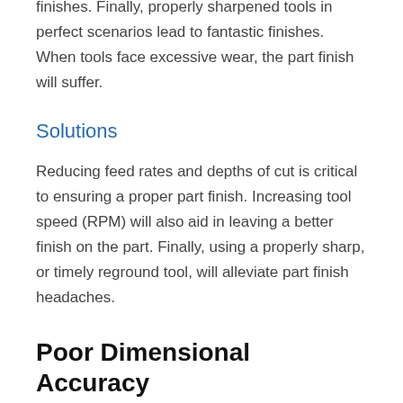finishes. Finally, properly sharpened tools in perfect scenarios lead to fantastic finishes. When tools face excessive wear, the part finish will suffer.
Solutions
Reducing feed rates and depths of cut is critical to ensuring a proper part finish. Increasing tool speed (RPM) will also aid in leaving a better finish on the part. Finally, using a properly sharp, or timely reground tool, will alleviate part finish headaches.
Poor Dimensional Accuracy
Causes
Accuracy of part dimensions is paramount to a machinist's and shop's success. When poor dimensional accuracy is plaguing a job, there are several areas machinists should investigate. Aggressive depths of cut,